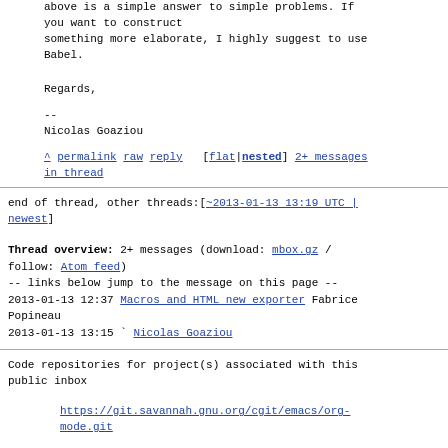above is a simple answer to simple problems. If you want to construct something more elaborate, I highly suggest to use Babel.

Regards,

--
Nicolas Goaziou
^ permalink raw reply [flat|nested] 2+ messages in thread
end of thread, other threads:[~2013-01-13 13:19 UTC | newest]
Thread overview: 2+ messages (download: mbox.gz / follow: Atom feed)
-- links below jump to the message on this page --
2013-01-13 12:37 Macros and HTML new exporter Fabrice Popineau
2013-01-13 13:15 ` Nicolas Goaziou
Code repositories for project(s) associated with this public inbox
https://git.savannah.gnu.org/cgit/emacs/org-mode.git